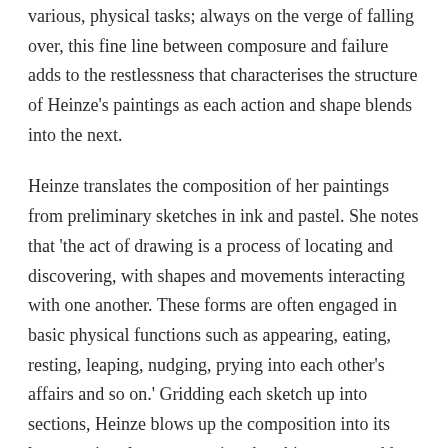various, physical tasks; always on the verge of falling over, this fine line between composure and failure adds to the restlessness that characterises the structure of Heinze's paintings as each action and shape blends into the next.
Heinze translates the composition of her paintings from preliminary sketches in ink and pastel. She notes that 'the act of drawing is a process of locating and discovering, with shapes and movements interacting with one another. These forms are often engaged in basic physical functions such as appearing, eating, resting, leaping, nudging, prying into each other's affairs and so on.' Gridding each sketch up into sections, Heinze blows up the composition into its larger, painterly state, arguing that this process adds to the dynamism which enlivens her work.